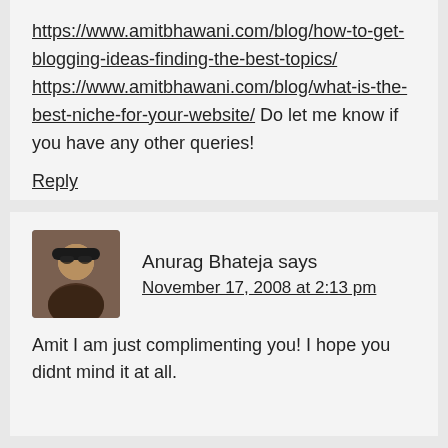https://www.amitbhawani.com/blog/how-to-get-blogging-ideas-finding-the-best-topics/
https://www.amitbhawani.com/blog/what-is-the-best-niche-for-your-website/
Do let me know if you have any other queries!
Reply
Anurag Bhateja says
November 17, 2008 at 2:13 pm
Amit I am just complimenting you! I hope you didnt mind it at all.